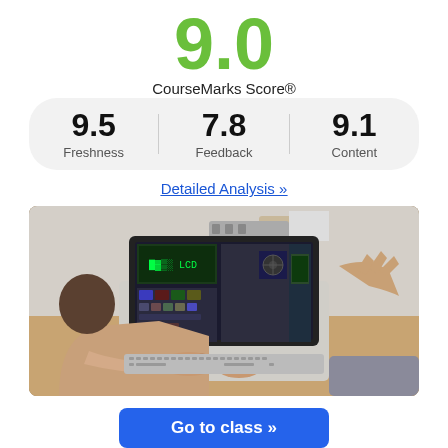9.0
CourseMarks Score®
| 9.5
Freshness | 7.8
Feedback | 9.1
Content |
Detailed Analysis »
[Figure (photo): Person typing on a laptop showing an engineering/electronics software interface, with another person's hand gesturing nearby, sitting at a wooden desk]
Go to class »